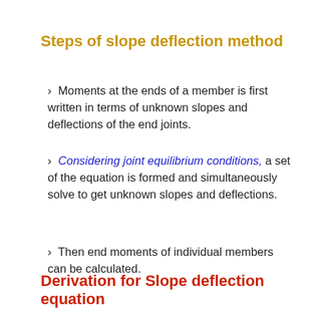Steps of slope deflection method
Moments at the ends of a member is first written in terms of unknown slopes and deflections of the end joints.
Considering joint equilibrium conditions, a set of the equation is formed and simultaneously solve to get unknown slopes and deflections.
Then end moments of individual members can be calculated.
Derivation for Slope deflection equation